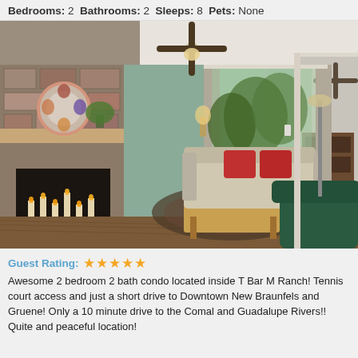Bedrooms: 2  Bathrooms: 2  Sleeps: 8  Pets: None
[Figure (photo): Interior photo of a living room with stone fireplace on the left with candles, ceiling fan, green walls, sliding glass door with view of deck and trees, beige sofa with red pillows, wooden coffee table, area rug, and a dark green recliner chair in the foreground. A doorway on the right shows an adjacent room with another ceiling fan.]
Guest Rating: ★★★★★ Awesome 2 bedroom 2 bath condo located inside T Bar M Ranch! Tennis court access and just a short drive to Downtown New Braunfels and Gruene! Only a 10 minute drive to the Comal and Guadalupe Rivers!! Quite and peaceful location!